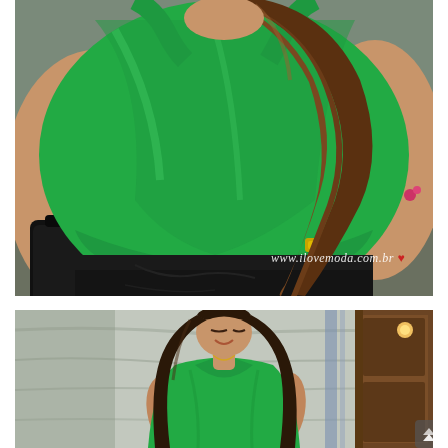[Figure (photo): Close-up photo of a plus-size woman wearing a bright green sleeveless blouse and black pants/jeans, holding a black handbag. Long brown hair visible. Watermark reads www.ilovemoda.com.br]
[Figure (photo): Full-body photo of a woman with long dark hair, eyes looking down, smiling, wearing a green V-neck top and dark pants. Background is a concrete wall and brown door.]